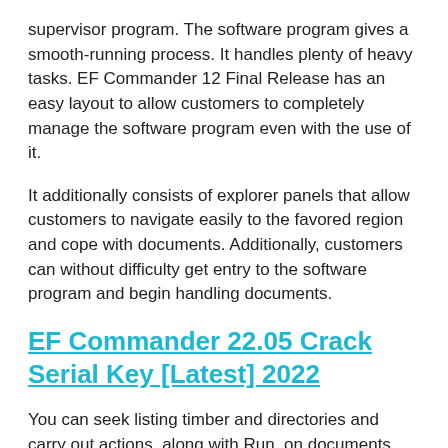supervisor program. The software program gives a smooth-running process. It handles plenty of heavy tasks. EF Commander 12 Final Release has an easy layout to allow customers to completely manage the software program even with the use of it.
It additionally consists of explorer panels that allow customers to navigate easily to the favored region and cope with documents. Additionally, customers can without difficulty get entry to the software program and begin handling documents.
EF Commander 22.05 Crack Serial Key [Latest] 2022
You can seek listing timber and directories and carry out actions, along with Run, on documents. You also can take a look at record attributes and edit documents with seek